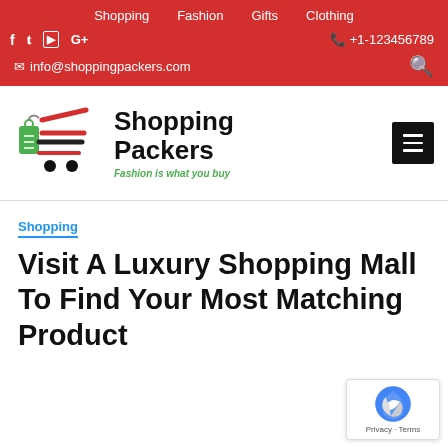Shopping  Fashion  Gifts  Clothing
f  tw  yt  G+   +1-123456789   info@shoppingpackers.com
[Figure (logo): Shopping Packers logo with shopping cart icon (red lines, green price tag, black wheels) and bold text 'Shopping Packers' with green italic tagline 'Fashion is what you buy']
Shopping
Visit A Luxury Shopping Mall To Find Your Most Matching Product